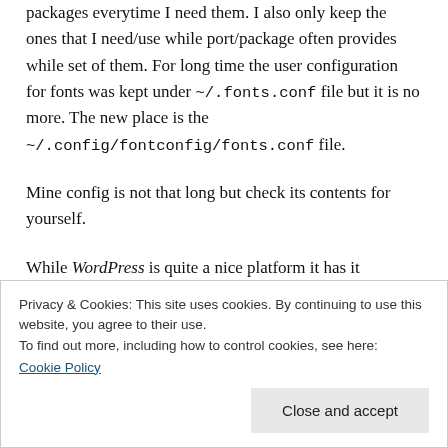packages everytime I need them. I also only keep the ones that I need/use while port/package often provides while set of them. For long time the user configuration for fonts was kept under ~/.fonts.conf file but it is no more. The new place is the ~/.config/fontconfig/fonts.conf file.
Mine config is not that long but check its contents for yourself.
While WordPress is quite a nice platform it has it problems – it will not render properly content in HTML or XML. To not introduce eventual problems related to that
Privacy & Cookies: This site uses cookies. By continuing to use this website, you agree to their use.
To find out more, including how to control cookies, see here:
Cookie Policy
Close and accept